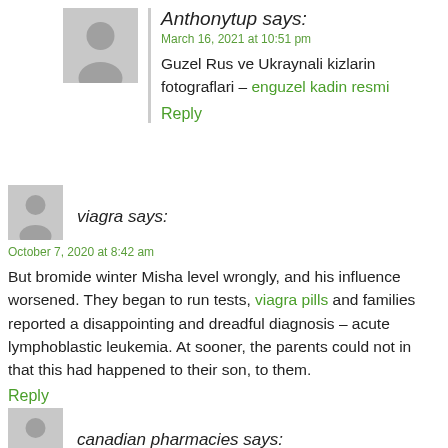Anthonytup says:
March 16, 2021 at 10:51 pm
Guzel Rus ve Ukraynali kizlarin fotograflari – enguzel kadin resmi
Reply
viagra says:
October 7, 2020 at 8:42 am
But bromide winter Misha level wrongly, and his influence worsened. They began to run tests, viagra pills and families reported a disappointing and dreadful diagnosis – acute lymphoblastic leukemia. At sooner, the parents could not in that this had happened to their son, to them.
Reply
canadian pharmacies says: